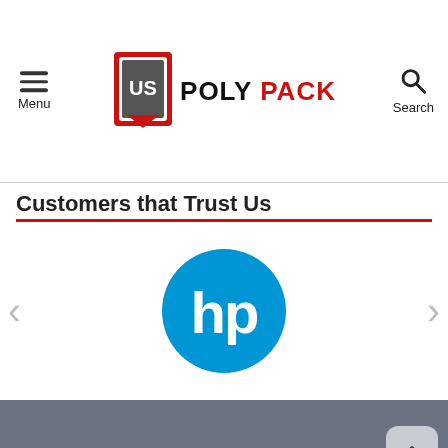US POLY PACK — Menu / Search navigation header
Customers that Trust Us
[Figure (logo): HP (Hewlett-Packard) blue circle logo with white 'hp' text, displayed in a customer carousel slider]
[Figure (other): Gray footer area with back-to-top arrow button in lower right corner]